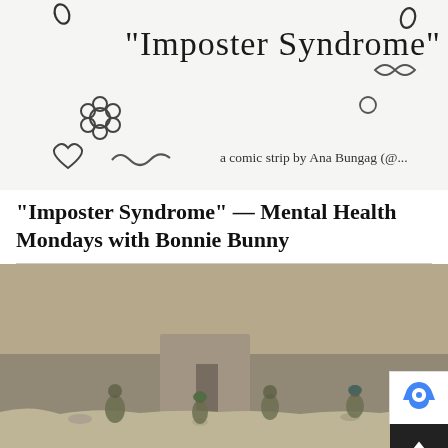[Figure (illustration): Hand-drawn comic strip header showing 'Imposter Syndrome' in stylized lettering with small doodles including a flower, a heart, leaves, and the text 'a comic strip by Ana Bungag (@...']
“Imposter Syndrome” — Mental Health Mondays with Bonnie Bunny
[Figure (photo): A blurry photograph of small military miniature figurines posed near a rocky/sandy wall structure outdoors]